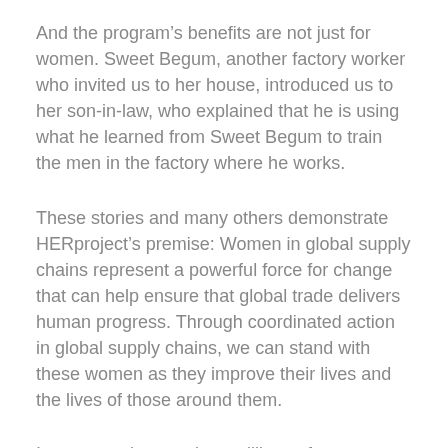And the program's benefits are not just for women. Sweet Begum, another factory worker who invited us to her house, introduced us to her son-in-law, who explained that he is using what he learned from Sweet Begum to train the men in the factory where he works.
These stories and many others demonstrate HERproject's premise: Women in global supply chains represent a powerful force for change that can help ensure that global trade delivers human progress. Through coordinated action in global supply chains, we can stand with these women as they improve their lives and the lives of those around them.
In a sector that employs millions of women, often in difficult working conditions and societies that struggle to ensure public health, there is much left to do. Systemic barriers to women's financial autonomy, access to health care, and gender-based violence are all too often a reality. Moreover